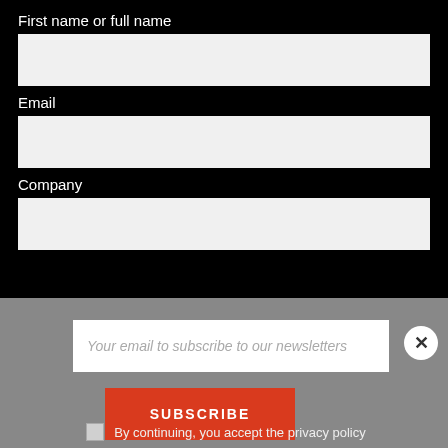First name or full name
Email
Company
Weekly Quantum Newsletter
Daily Quantum Feed
Monthly Quantum Business Digest
Your email to subscribe to our newsletters
SUBSCRIBE
By continuing, you accept the privacy policy